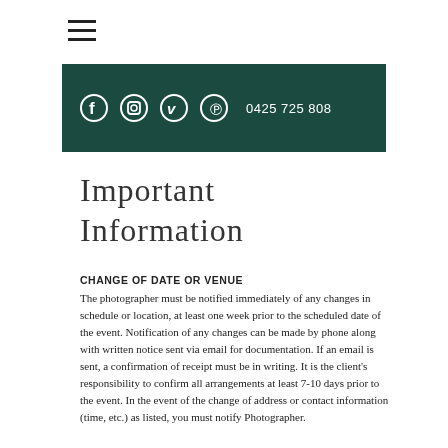[Figure (other): Hamburger menu icon (three horizontal lines)]
[Figure (other): Dark green header bar with social media icons (Facebook, Instagram, Vimeo, Pinterest) and phone number 0425 725 808]
Important Information
CHANGE OF DATE OR VENUE
The photographer must be notified immediately of any changes in schedule or location, at least one week prior to the scheduled date of the event. Notification of any changes can be made by phone along with written notice sent via email for documentation. If an email is sent, a confirmation of receipt must be in writing. It is the client's responsibility to confirm all arrangements at least 7-10 days prior to the event. In the event of the change of address or contact information (time, etc.) as listed, you must notify Photographer.